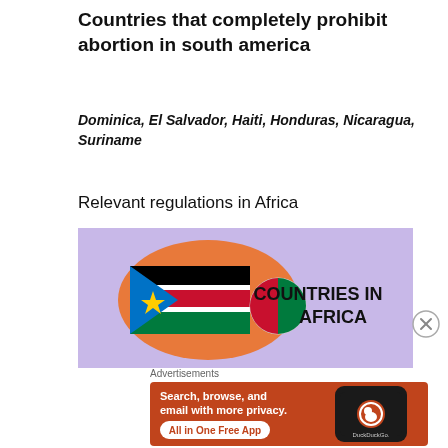Countries that completely prohibit abortion in south america
Dominica, El Salvador, Haiti, Honduras, Nicaragua, Suriname
Relevant regulations in Africa
[Figure (illustration): Image showing flags of African countries with text 'COUNTRIES IN AFRICA' on a purple background]
Advertisements
[Figure (screenshot): DuckDuckGo advertisement: 'Search, browse, and email with more privacy. All in One Free App' on orange background with phone image showing DuckDuckGo logo]